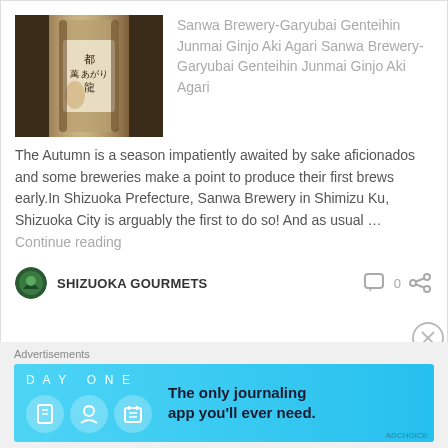[Figure (photo): Photo of a Japanese sake bottle with label showing Garyubai sake, dark background]
Sanwa Brewery-Garyubai Genteihin Junmai Ginjo Aki Agari Sanwa Brewery-Garyubai Genteihin Junmai Ginjo Aki Agari
The Autumn is a season impatiently awaited by sake aficionados and some breweries make a point to produce their first brews early.In Shizuoka Prefecture, Sanwa Brewery in Shimizu Ku, Shizuoka City is arguably the first to do so! And as usual ...
Continue reading
SHIZUOKA GOURMETS
0
Advertisements
[Figure (screenshot): Day One journaling app advertisement banner with light blue background, DAY ONE logo, icons, and text 'The only journaling app you'll ever need.']